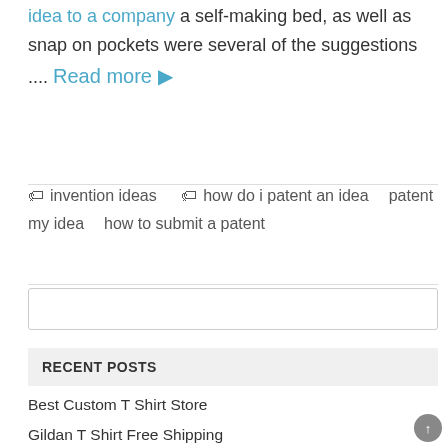idea to a company a self-making bed, as well as snap on pockets were several of the suggestions .... Read more ▶
🏷 invention ideas   🏷 how do i patent an idea   patent my idea   how to submit a patent
[Figure (other): Search input box (empty)]
RECENT POSTS
Best Custom T Shirt Store
Gildan T Shirt Free Shipping
Inventhelp Success Rate